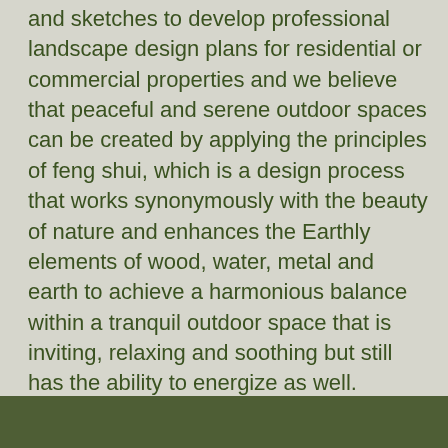and sketches to develop professional landscape design plans for residential or commercial properties and we believe that peaceful and serene outdoor spaces can be created by applying the principles of feng shui, which is a design process that works synonymously with the beauty of nature and enhances the Earthly elements of wood, water, metal and earth to achieve a harmonious balance within a tranquil outdoor space that is inviting, relaxing and soothing but still has the ability to energize as well.